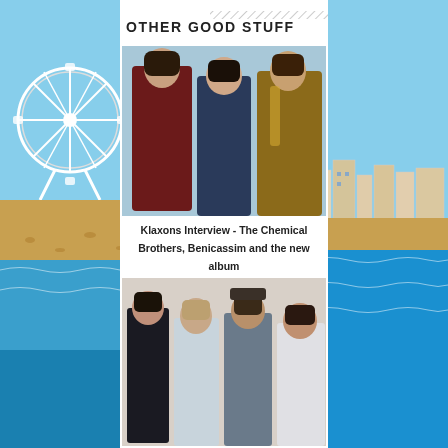OTHER GOOD STUFF
[Figure (photo): Three men in colourful jackets (Klaxons) posing against a light blue background]
Klaxons Interview - The Chemical Brothers, Benicassim and the new album
[Figure (photo): Four men casually dressed posing together against a white background]
[Figure (photo): Background photo showing a ferris wheel and Brighton beach on the left side]
[Figure (photo): Background photo showing a coastal town and sea on the right side]